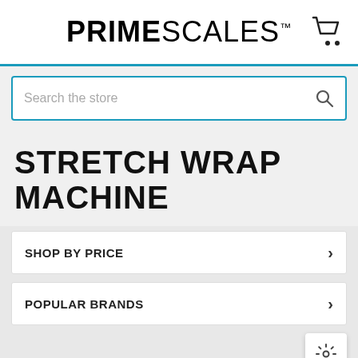PRIMESCALES™
Search the store
STRETCH WRAP MACHINE
SHOP BY PRICE
POPULAR BRANDS
[Figure (screenshot): 50% On Sale product card showing a stretch wrap machine]
[Figure (screenshot): 25% On Sale product card showing a stretch wrap machine]